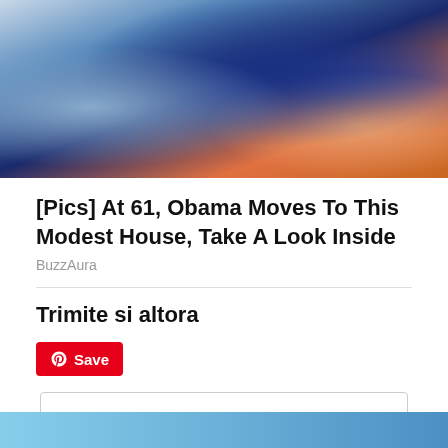[Figure (photo): Partial photo of two people, one in blue checkered shirt, one in blue top with orange strap, outdoor setting]
[Pics] At 61, Obama Moves To This Modest House, Take A Look Inside
BuzzAura
Trimite si altora
[Figure (other): Pinterest Save button (red button with Pinterest logo and 'Save' text)]
Confidențialitate și cookie-uri: acest site folosește cookie-uri. Dacă continui să folosești acest site web, ești de acord cu utilizarea lor. Pentru a afla mai multe, inclusiv cum să controlezi cookie-urile, uită-te aici: Politică cookie-uri
[Figure (photo): Partial bottom photo, sky with blue tones]